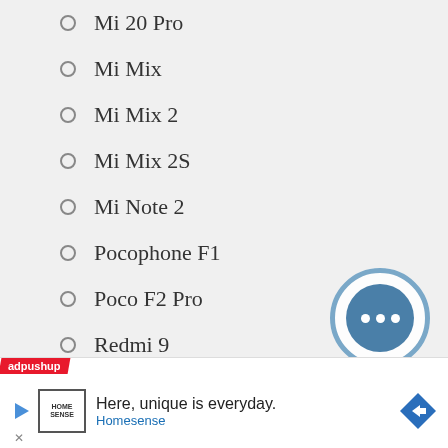Mi 20 Pro
Mi Mix
Mi Mix 2
Mi Mix 2S
Mi Note 2
Pocophone F1
Poco F2 Pro
Redmi 9
Redmi Note 8
Note 9 (partial, cut off)
[Figure (other): Floating action button with three horizontal dots (more options), surrounded by a blue ring on a light circular background]
adpushup | Here, unique is everyday. Homesense